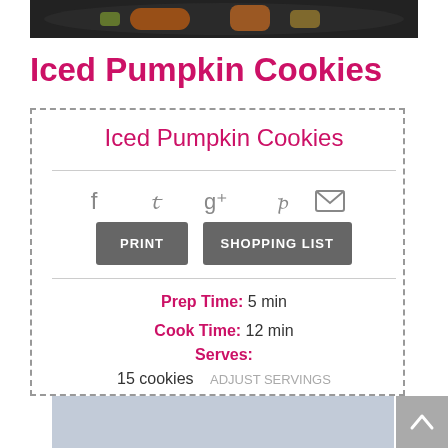[Figure (photo): Top portion of a dark skillet/pan with food, cropped at the top of the page]
Iced Pumpkin Cookies
Iced Pumpkin Cookies
[Figure (infographic): Social sharing icons: Facebook, Twitter, Google+, Pinterest, Email]
PRINT   SHOPPING LIST
Prep Time: 5 min
Cook Time: 12 min
Serves:
15 cookies   ADJUST SERVINGS
[Figure (photo): Bottom portion showing a light blue/grey background image at the bottom of the recipe card]